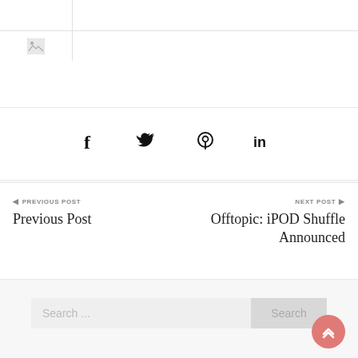|  |  |
| [image] |  |
[Figure (other): Social share bar with Facebook, Twitter, Pinterest, and LinkedIn icons]
◄ PREVIOUS POST
Previous Post
NEXT POST ►
Offtopic: iPOD Shuffle Announced
Search ...
Search